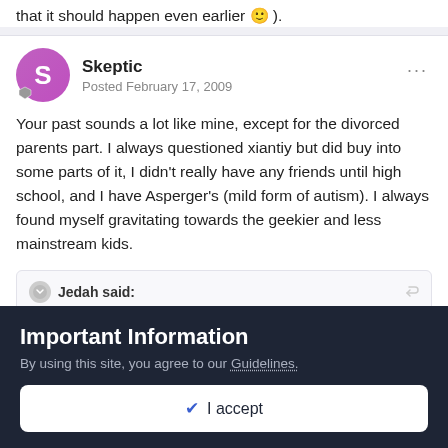that it should happen even earlier 🙂 ).
Skeptic
Posted February 17, 2009
Your past sounds a lot like mine, except for the divorced parents part. I always questioned xiantiy but did buy into some parts of it, I didn't really have any friends until high school, and I have Asperger's (mild form of autism). I always found myself gravitating towards the geekier and less mainstream kids.
Jedah said:
I no longer despise Christians. I despise the Bible and find it
Important Information
By using this site, you agree to our Guidelines.
✓  I accept